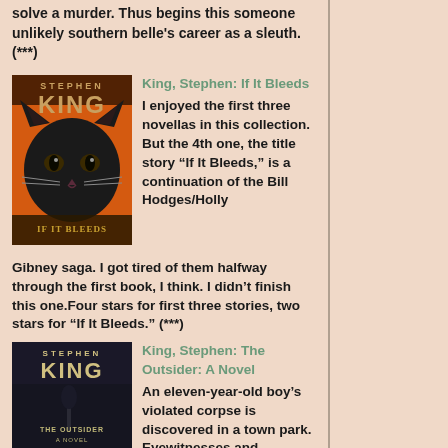solve a murder. Thus begins this someone unlikely southern belle's career as a sleuth. (***)
[Figure (illustration): Book cover for Stephen King's 'If It Bleeds' showing a black cat face on an orange background]
King, Stephen: If It Bleeds
I enjoyed the first three novellas in this collection. But the 4th one, the title story “If It Bleeds,” is a continuation of the Bill Hodges/Holly Gibney saga. I got tired of them halfway through the first book, I think. I didn’t finish this one.Four stars for first three stories, two stars for “If It Bleeds.” (***)
[Figure (illustration): Book cover for Stephen King's 'The Outsider: A Novel' with dark atmospheric design]
King, Stephen: The Outsider: A Novel
An eleven-year-old boy's violated corpse is discovered in a town park. Eyewitnesses and